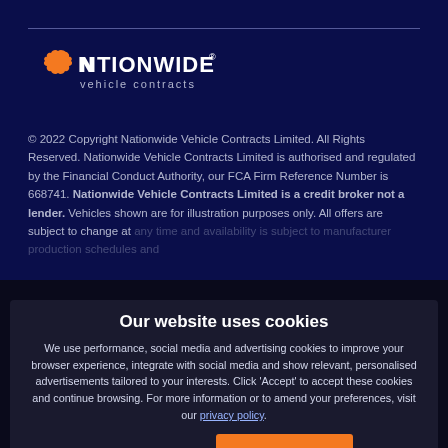[Figure (logo): Nationwide Vehicle Contracts logo — white text with orange UK map icon]
© 2022 Copyright Nationwide Vehicle Contracts Limited. All Rights Reserved. Nationwide Vehicle Contracts Limited is authorised and regulated by the Financial Conduct Authority, our FCA Firm Reference Number is 668741. Nationwide Vehicle Contracts Limited is a credit broker not a lender. Vehicles shown are for illustration purposes only. All offers are subject to change at any time…
Our website uses cookies
We use performance, social media and advertising cookies to improve your browser experience, integrate with social media and show relevant, personalised advertisements tailored to your interests. Click 'Accept' to accept these cookies and continue browsing. For more information or to amend your preferences, visit our privacy policy.
Change Settings
✓ ACCEPT